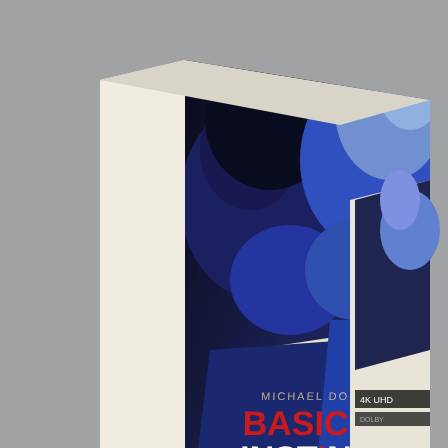[Figure (photo): Product photo of the Basic Instinct Blu-ray/4K UHD collector's edition box set. Center: a 3D rendered box with spine text 'BASIC INSTINCT' in vertical red text, and front cover showing Michael Douglas and Sharon Stone in blue-tinted close-up about to kiss, with text 'MICHAEL DOUGLAS', 'BASIC INSTINCT', 'SHARON STONE', 'A FILM BY PAUL VERHOEVEN', Blu-ray and 4K UHD logos, and UK age rating circles (18). To the right and bottom-right are additional components of the set including what appear to be a booklet and disc art, also showing the same blue-tinted imagery. Background is a solid medium gray.]